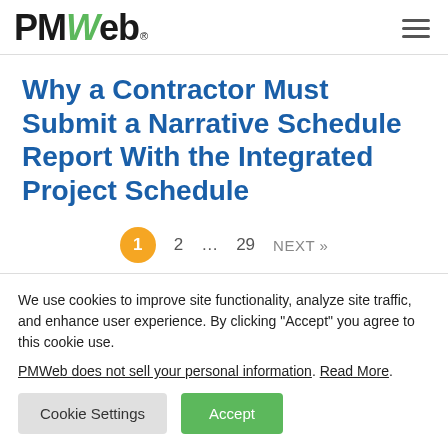PMWeb
Why a Contractor Must Submit a Narrative Schedule Report With the Integrated Project Schedule
1 2 ... 29 NEXT »
We use cookies to improve site functionality, analyze site traffic, and enhance user experience. By clicking "Accept" you agree to this cookie use.
PMWeb does not sell your personal information. Read More.